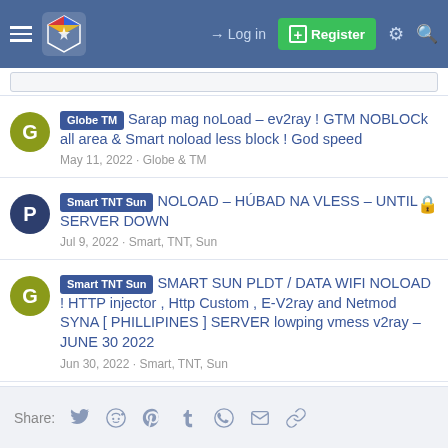Log in | Register
Globe TM - Sarap mag noLoad - ev2ray ! GTM NOBLOCk all area & Smart noload less block ! God speed | May 11, 2022 · Globe & TM
Smart TNT Sun - NOLOAD – HÚBAD NA VLESS – UNTIL SERVER DOWN | Jul 9, 2022 · Smart, TNT, Sun
Smart TNT Sun - SMART SUN PLDT / DATA WIFI NOLOAD ! HTTP injector , Http Custom , E-V2ray and Netmod SYNA [ PHILLIPINES ] SERVER lowping vmess v2ray – JUNE 30 2022 | Jun 30, 2022 · Smart, TNT, Sun
Share: